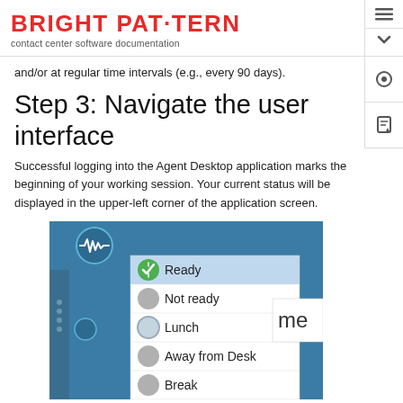BRIGHT PAT·TERN
contact center software documentation
and/or at regular time intervals (e.g., every 90 days).
Step 3: Navigate the user interface
Successful logging into the Agent Desktop application marks the beginning of your working session. Your current status will be displayed in the upper-left corner of the application screen.
[Figure (screenshot): Agent Desktop application screenshot showing a status dropdown menu with options: Ready (selected, highlighted in blue), Not ready, Lunch, Away from Desk, Break. The top bar is teal/blue with a waveform logo icon. A partial 'me' text is visible on the right side.]